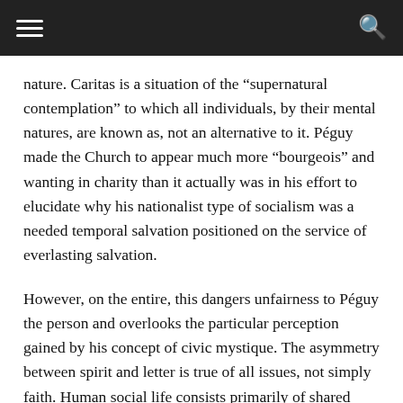nature. Caritas is a situation of the “supernatural contemplation” to which all individuals, by their mental natures, are known as, not an alternative to it. Péguy made the Church to appear much more “bourgeois” and wanting in charity than it actually was in his effort to elucidate why his nationalist type of socialism was a needed temporal salvation positioned on the service of everlasting salvation.
However, on the entire, this dangers unfairness to Péguy the person and overlooks the particular perception gained by his concept of civic mystique. The asymmetry between spirit and letter is true of all issues, not simply faith. Human social life consists primarily of shared devotions and solely secondarily of procedures and insurance policies. When love withers to mere program, decadence and corruption ensues.